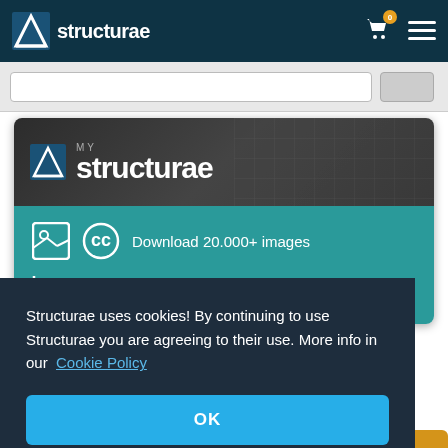structurae
[Figure (screenshot): My Structurae card with teal background showing 'Download 20.000+ images' and 'Data diagrams for structure types' features]
Structurae uses cookies! By continuing to use Structurae you are agreeing to their use. More info in our Cookie Policy
OK